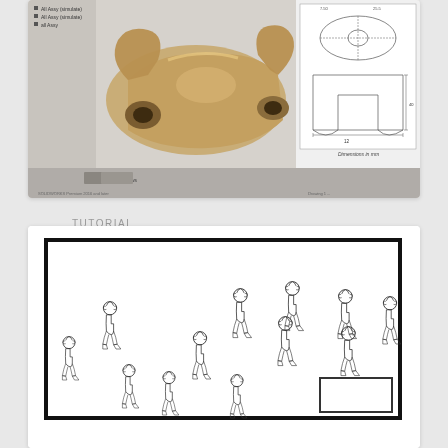[Figure (screenshot): Screenshot of SolidWorks CAD software showing a 3D model of a bracket/clamp part alongside its 2D engineering drawing with dimensions in mm]
TUTORIAL
Solidworks Drawing Tutorial
Pin On Solidworks
[Figure (illustration): Illustration showing multiple cartoon character figures (a girl) arranged in a stepped/diagonal pattern inside a bordered frame, with a small blank box in the bottom right corner]